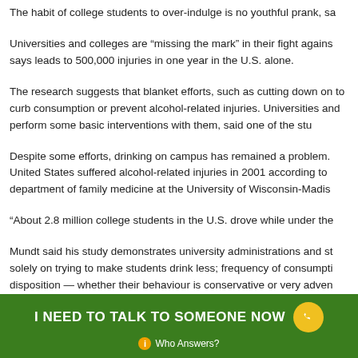The habit of college students to over-indulge is no youthful prank, sa
Universities and colleges are “missing the mark” in their fight agains says leads to 500,000 injuries in one year in the U.S. alone.
The research suggests that blanket efforts, such as cutting down on to curb consumption or prevent alcohol-related injuries. Universities and perform some basic interventions with them, said one of the stu
Despite some efforts, drinking on campus has remained a problem. United States suffered alcohol-related injuries in 2001 according to department of family medicine at the University of Wisconsin-Madis
“About 2.8 million college students in the U.S. drove while under the
Mundt said his study demonstrates university administrations and st solely on trying to make students drink less; frequency of consumpti disposition — whether their behaviour is conservative or very adven
I NEED TO TALK TO SOMEONE NOW  Who Answers?